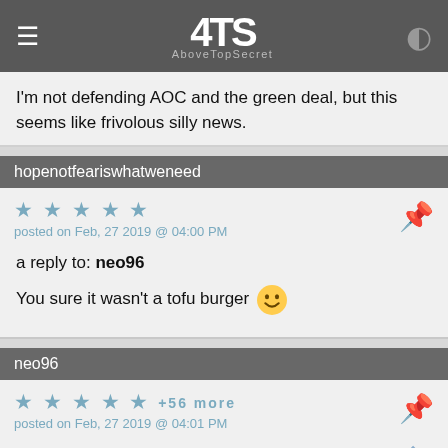AboveTopSecret (4TS) navigation bar
I'm not defending AOC and the green deal, but this seems like frivolous silly news.
hopenotfeariswhatweneed
posted on Feb, 27 2019 @ 04:00 PM
a reply to: neo96
You sure it wasn't a tofu burger 😁
neo96
+56 more
posted on Feb, 27 2019 @ 04:01 PM
a reply to: DBCowboy